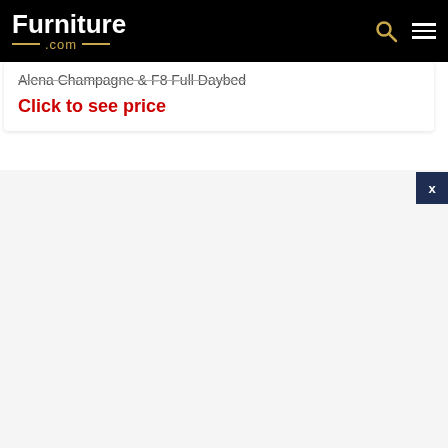Furniture .com
Alena Champagne & F8 Full Daybed
Click to see price